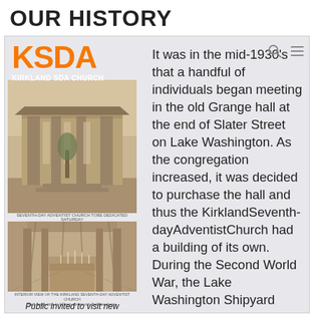OUR HISTORY
[Figure (photo): Two sepia-toned historical photographs of the Kirkland Seventh-day Adventist Church building, with 'KSDA / KIRKLAND SDA CHURCH' logo overlay and caption 'Public invited to visit new Adventist Church']
It was in the mid-1930's that a handful of individuals began meeting in the old Grange hall at the end of Slater Street on Lake Washington. As the congregation increased, it was decided to purchase the hall and thus the KirklandSeventh-dayAdventistChurch had a building of its own. During the Second World War, the Lake Washington Shipyard (now the site of